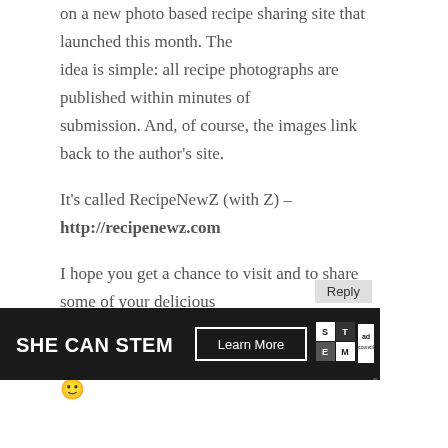on a new photo based recipe sharing site that launched this month. The idea is simple: all recipe photographs are published within minutes of submission. And, of course, the images link back to the author's site.
It's called RecipeNewZ (with Z) – http://recipenewz.com
I hope you get a chance to visit and to share some of your delicious posts with our viewers. It would be a pleasure to have you on board 🙂
[Figure (other): SHE CAN STEM advertisement banner with Learn More button, STEM grid logo, and Ad Council logo on dark background]